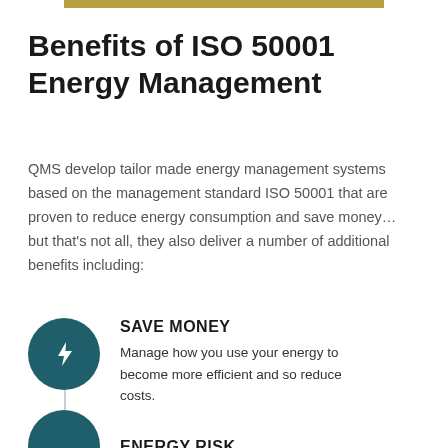[Figure (other): Gold/olive horizontal bar at top center of page]
Benefits of ISO 50001 Energy Management
QMS develop tailor made energy management systems based on the management standard ISO 50001 that are proven to reduce energy consumption and save money… but that's not all, they also deliver a number of additional benefits including:
[Figure (infographic): Dark teal circle icon with lightning bolt symbol, representing SAVE MONEY benefit]
SAVE MONEY
Manage how you use your energy to become more efficient and so reduce costs.
[Figure (infographic): Dark teal circle icon partially visible at bottom, representing ENERGY RISK benefit]
ENERGY RISK